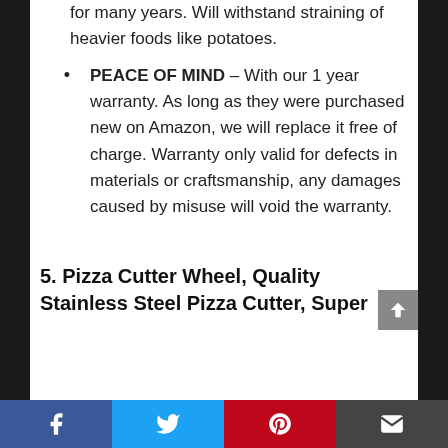for many years. Will withstand straining of heavier foods like potatoes.
PEACE OF MIND – With our 1 year warranty. As long as they were purchased new on Amazon, we will replace it free of charge. Warranty only valid for defects in materials or craftsmanship, any damages caused by misuse will void the warranty.
5. Pizza Cutter Wheel, Quality Stainless Steel Pizza Cutter, Super